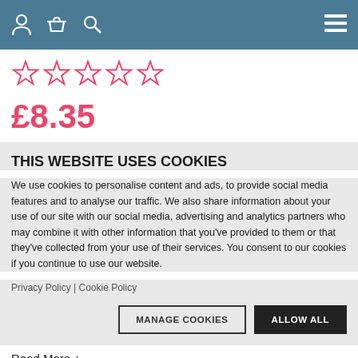Navigation bar with user, basket, search icons and hamburger menu
[Figure (illustration): Five empty star rating icons in pink/red outline]
£8.35
THIS WEBSITE USES COOKIES
We use cookies to personalise content and ads, to provide social media features and to analyse our traffic. We also share information about your use of our site with our social media, advertising and analytics partners who may combine it with other information that you've provided to them or that they've collected from your use of their services. You consent to our cookies if you continue to use our website.
Privacy Policy | Cookie Policy
MANAGE COOKIES   ALLOW ALL
Read More +